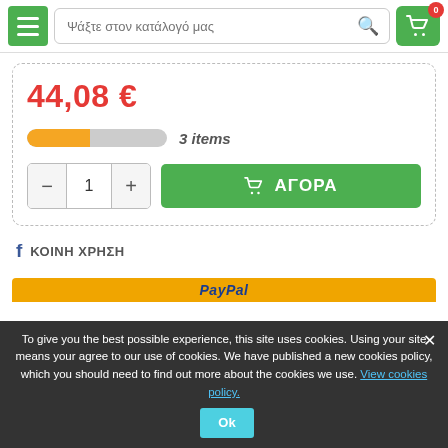Ψάξτε στον κατάλογό μας
44,08 €
3 items
1
ΑΓΟΡΑ
ΚΟΙΝΗ ΧΡΗΣΗ
PayPal
To give you the best possible experience, this site uses cookies. Using your site means your agree to our use of cookies. We have published a new cookies policy, which you should need to find out more about the cookies we use. View cookies policy. Ok
Comments